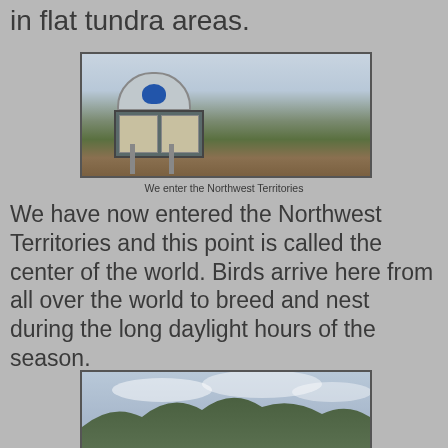in flat tundra areas.
[Figure (photo): Northwest Territories border sign with informational bulletin boards, green tundra landscape and mountains in background under cloudy sky]
We enter the Northwest Territories
We have now entered the Northwest Territories and this point is called the center of the world.  Birds arrive here from all over the world to breed and nest during the long daylight hours of the season.
[Figure (photo): Rolling green hills and mountains under an overcast cloudy sky in the Northwest Territories]